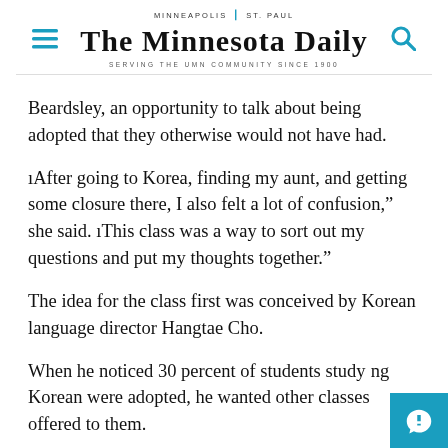MINNEAPOLIS | ST. PAUL
THE MINNESOTA DAILY
SERVING THE UMN COMMUNITY SINCE 1900
Beardsley, an opportunity to talk about being adopted that they otherwise would not have had.
¡After going to Korea, finding my aunt, and getting some closure there, I also felt a lot of confusion," she said. ¡This class was a way to sort out my questions and put my thoughts together."
The idea for the class first was conceived by Korean language director Hangtae Cho.
When he noticed 30 percent of students studying Korean were adopted, he wanted other classes offered to them.
Richard Smith, the director of Adoption for